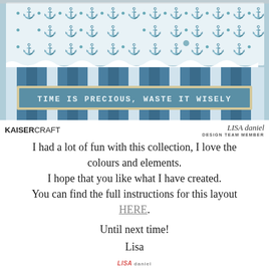[Figure (photo): Crafting/scrapbooking photo with nautical anchor patterned paper, teal and white striped background, torn paper edge, and a sign reading 'TIME IS PRECIOUS, WASTE IT WISELY'. Kaisercraft logo bottom left, 'LISA daniel DESIGN TEAM MEMBER' bottom right.]
KAISERCRAFT  |  LISA daniel
DESIGN TEAM MEMBER
I had a lot of fun with this collection, I love the colours and elements.
I hope that you like what I have created.
You can find the full instructions for this layout HERE.
Until next time!
Lisa